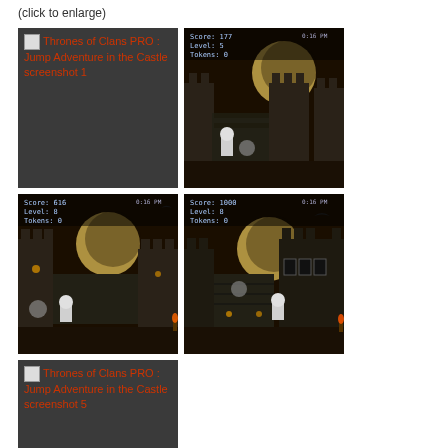(click to enlarge)
[Figure (screenshot): Thrones of Clans PRO: Jump Adventure in the Castle screenshot 1 - broken image placeholder with orange text on dark background]
[Figure (screenshot): Thrones of Clans PRO: Jump Adventure in the Castle screenshot 2 - game screenshot showing castle at night, Score: 177, Level: 5, Tokens: 0]
[Figure (screenshot): Thrones of Clans PRO: Jump Adventure in the Castle screenshot 3 - game screenshot showing castle at night, Score: 616, Level: 8, Tokens: 0]
[Figure (screenshot): Thrones of Clans PRO: Jump Adventure in the Castle screenshot 4 - game screenshot showing castle at night, Score: 1000, Level: 8, Tokens: 0]
[Figure (screenshot): Thrones of Clans PRO: Jump Adventure in the Castle screenshot 5 - broken image placeholder with orange text on dark background]